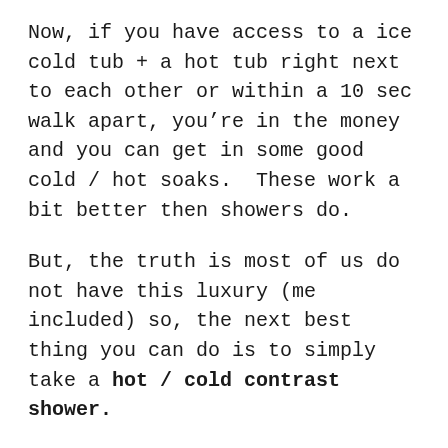Now, if you have access to a ice cold tub + a hot tub right next to each other or within a 10 sec walk apart, you’re in the money and you can get in some good cold / hot soaks.  These work a bit better then showers do.
But, the truth is most of us do not have this luxury (me included) so, the next best thing you can do is to simply take a hot / cold contrast shower.
These take a bit getting used to but, just like anything else, you’ve got to push through the uncomfortable part (Ice Cold Water).